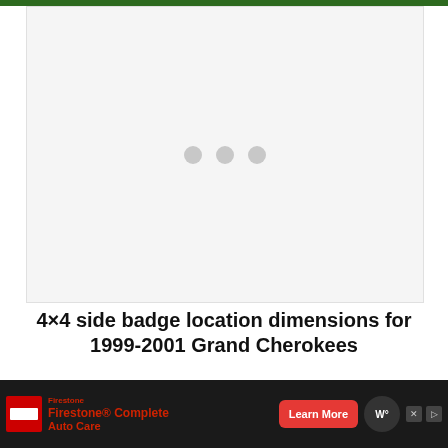[Figure (photo): Image loading placeholder area with three grey dots indicating a loading state. Light grey background.]
4×4 side badge location dimensions for 1999-2001 Grand Cherokees
Exterior badge removal
[Figure (other): Advertisement banner: Firestone Complete Auto Care with Learn More button]